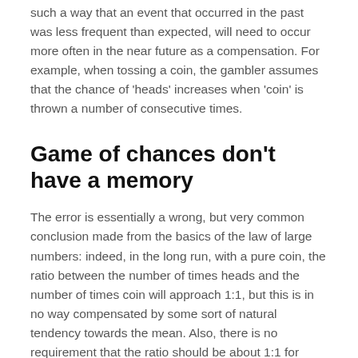such a way that an event that occurred in the past was less frequent than expected, will need to occur more often in the near future as a compensation. For example, when tossing a coin, the gambler assumes that the chance of 'heads' increases when 'coin' is thrown a number of consecutive times.
Game of chances don't have a memory
The error is essentially a wrong, but very common conclusion made from the basics of the law of large numbers: indeed, in the long run, with a pure coin, the ratio between the number of times heads and the number of times coin will approach 1:1, but this is in no way compensated by some sort of natural tendency towards the mean. Also, there is no requirement that the ratio should be about 1:1 for smaller series, as divergences are very common. With every new flip, the chance of heads is 50%